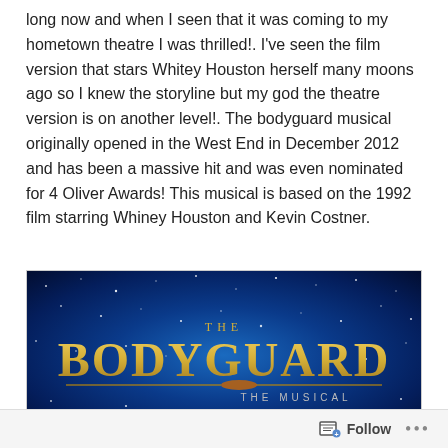long now and when I seen that it was coming to my hometown theatre I was thrilled!. I've seen the film version that stars Whitey Houston herself many moons ago so I knew the storyline but my god the theatre version is on another level!. The bodyguard musical originally opened in the West End in December 2012 and has been a massive hit and was even nominated for 4 Oliver Awards! This musical is based on the 1992 film starring Whiney Houston and Kevin Costner.
[Figure (illustration): The Bodyguard The Musical promotional banner/logo on a blue sparkly starfield background. Text reads 'THE' in small caps above large gold lettering 'BODYGUARD' and below 'THE MUSICAL' in silver/grey small caps.]
Follow ...